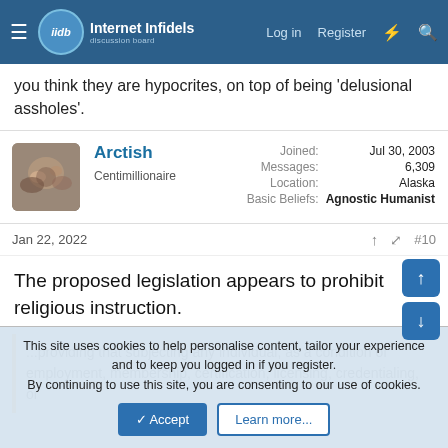Internet Infidels — Log in  Register
you think they are hypocrites, on top of being 'delusional assholes'.
| Field | Value |
| --- | --- |
| Arctish |  |
| Centimillionaire |  |
| Joined: | Jul 30, 2003 |
| Messages: | 6,309 |
| Location: | Alaska |
| Basic Beliefs: | Agnostic Humanist |
Jan 22, 2022   #10
The proposed legislation appears to prohibit religious instruction.
...providing that subjecting any individual, as a condition of employment, membership, certification, licensing, credentialing, or
This site uses cookies to help personalise content, tailor your experience and to keep you logged in if you register.
By continuing to use this site, you are consenting to our use of cookies.